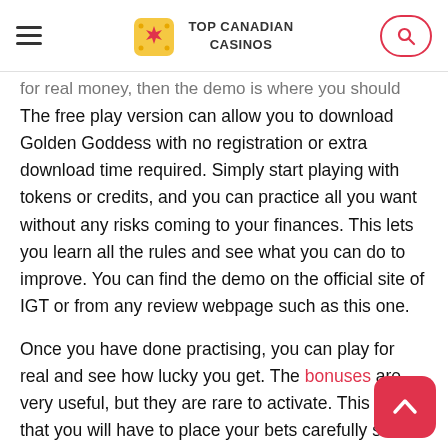TOP CANADIAN CASINOS
for real money, then the demo is where you should start. The free play version can allow you to download Golden Goddess with no registration or extra download time required. Simply start playing with tokens or credits, and you can practice all you want without any risks coming to your finances. This lets you learn all the rules and see what you can do to improve. You can find the demo on the official site of IGT or from any review webpage such as this one.
Once you have done practising, you can play for real and see how lucky you get. The bonuses are very useful, but they are rare to activate. This means that you will have to place your bets carefully so that you are not wasting away too much money early on. Once the free spins have been activated, the roses can create extra winnings for you. So,